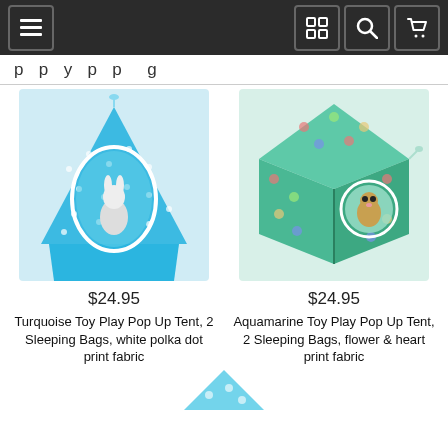Navigation bar with menu, grid, search, and cart icons
p p y p p g
[Figure (photo): Turquoise toy play pop up tent with white polka dot fabric, containing a stuffed bunny rabbit toy]
$24.95
Turquoise Toy Play Pop Up Tent, 2 Sleeping Bags, white polka dot print fabric
[Figure (photo): Aquamarine toy play pop up tent with flower and heart print fabric, containing a small stuffed animal toy]
$24.95
Aquamarine Toy Play Pop Up Tent, 2 Sleeping Bags, flower & heart print fabric
[Figure (photo): Partial view of another product at the bottom of the page]